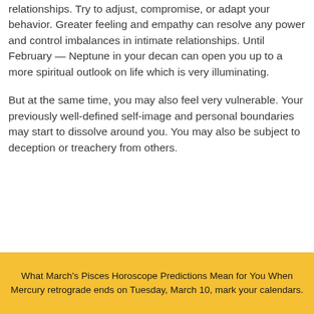relationships. Try to adjust, compromise, or adapt your behavior. Greater feeling and empathy can resolve any power and control imbalances in intimate relationships. Until February — Neptune in your decan can open you up to a more spiritual outlook on life which is very illuminating.
But at the same time, you may also feel very vulnerable. Your previously well-defined self-image and personal boundaries may start to dissolve around you. You may also be subject to deception or treachery from others.
What March's Pisces Horoscope Predictions Mean for You When Mercury retrograde ends on Tuesday, March 10, mark your calendars.